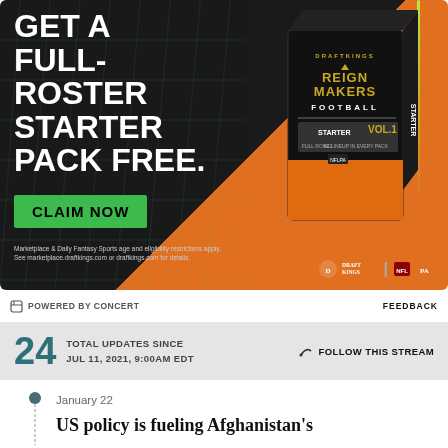[Figure (illustration): DraftKings Reign Makers Football advertisement. Black and orange background with grid lines. Large white bold text reads GET A FULL-ROSTER STARTER PACK FREE. Green button says CLAIM NOW. Product box shown on right side. DraftKings and NFLPA logos at bottom right.]
POWERED BY CONCERT
FEEDBACK
24 TOTAL UPDATES SINCE JUL 11, 2021, 9:00AM EDT
FOLLOW THIS STREAM
January 22
US policy is fueling Afghanistan's